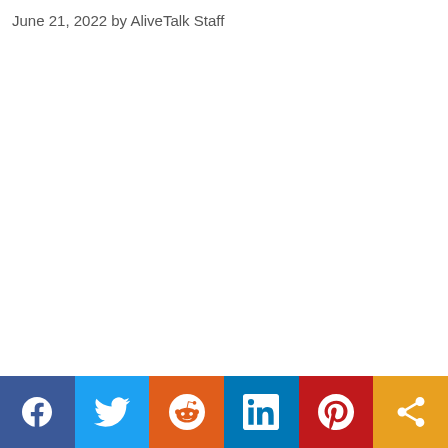June 21, 2022 by AliveTalk Staff
[Figure (other): Social sharing button bar with icons for Facebook, Twitter, Reddit, LinkedIn, Pinterest, and a generic share button]